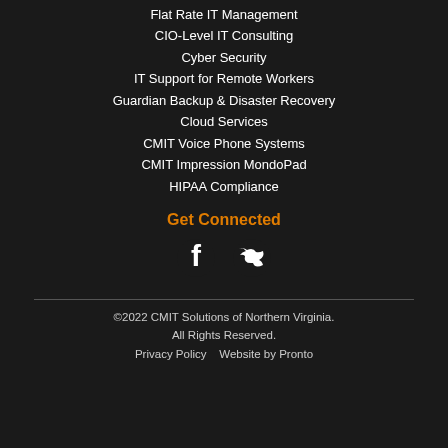Flat Rate IT Management
CIO-Level IT Consulting
Cyber Security
IT Support for Remote Workers
Guardian Backup & Disaster Recovery
Cloud Services
CMIT Voice Phone Systems
CMIT Impression MondoPad
HIPAA Compliance
Get Connected
[Figure (illustration): Facebook and Twitter social media icons]
©2022 CMIT Solutions of Northern Virginia. All Rights Reserved. Privacy Policy   Website by Pronto